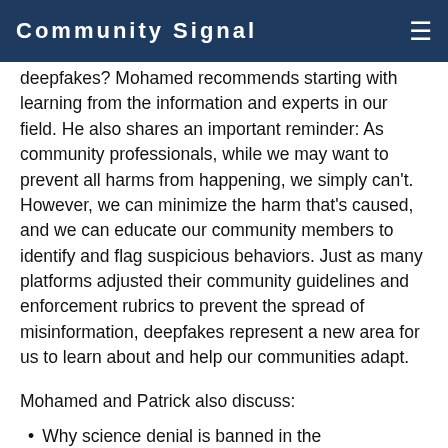Community Signal
deepfakes? Mohamed recommends starting with learning from the information and experts in our field. He also shares an important reminder: As community professionals, while we may want to prevent all harms from happening, we simply can't. However, we can minimize the harm that's caused, and we can educate our community members to identify and flag suspicious behaviors. Just as many platforms adjusted their community guidelines and enforcement rubrics to prevent the spread of misinformation, deepfakes represent a new area for us to learn about and help our communities adapt.
Mohamed and Patrick also discuss:
Why science denial is banned in the